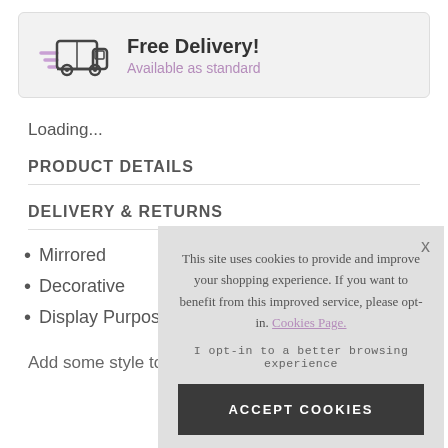[Figure (illustration): Free Delivery banner with a delivery truck icon (with purple speed lines) inside a light grey rounded rectangle box]
Loading...
PRODUCT DETAILS
DELIVERY & RETURNS
Mirrored
Decorative
Display Purposes
Add some style to your home with this lovely Medium
[Figure (screenshot): Cookie consent overlay popup with message: This site uses cookies to provide and improve your shopping experience. If you want to benefit from this improved service, please opt-in. Cookies Page. I opt-in to a better browsing experience. ACCEPT COOKIES button.]